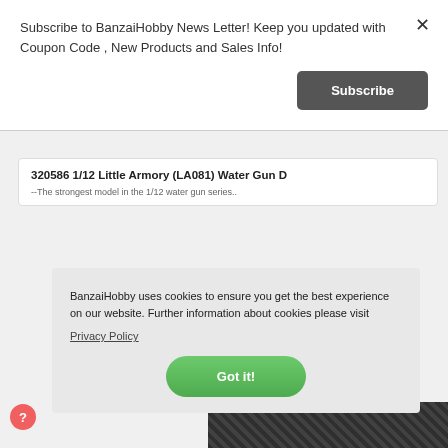Subscribe to BanzaiHobby News Letter! Keep you updated with Coupon Code , New Products and Sales Info!
Subscribe
320586 1/12 Little Armory (LA081) Water Gun D
--The strongest model in the 1/12 water gun series..
BanzaiHobby uses cookies to ensure you get the best experience on our website. Further information about cookies please visit
Privacy Policy
Got it!